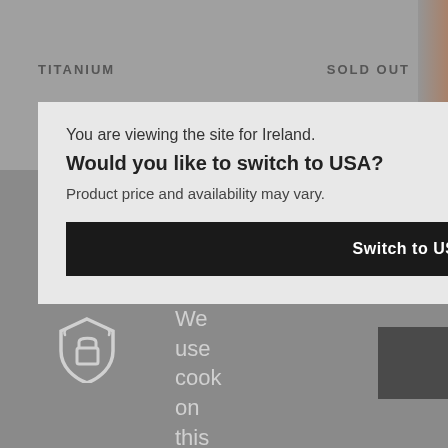TITANIUM
SOLD OUT
You are viewing the site for Ireland.
Would you like to switch to USA?
Product price and availability may vary.
Switch to USA
[Figure (illustration): Cookie consent shield/lock icon]
We use cook on this site
Accept